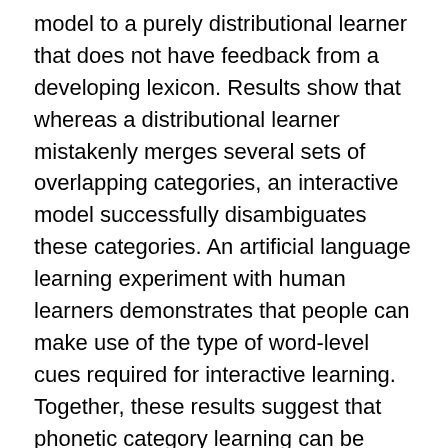model to a purely distributional learner that does not have feedback from a developing lexicon. Results show that whereas a distributional learner mistakenly merges several sets of overlapping categories, an interactive model successfully disambiguates these categories. An artificial language learning experiment with human learners demonstrates that people can make use of the type of word-level cues required for interactive learning. Together, these results suggest that phonetic category learning can be better understood in conjunction with other contemporaneous learning processes and that simultaneous learning of multiple layers of linguistic structure can potentially make the language acquisition problem more tractable.
Bio: Naomi was a graduate student in the Department of Cognitive and Linguistic Sciences at Brown University working with Jim Morgan and Tom Griffiths. She's